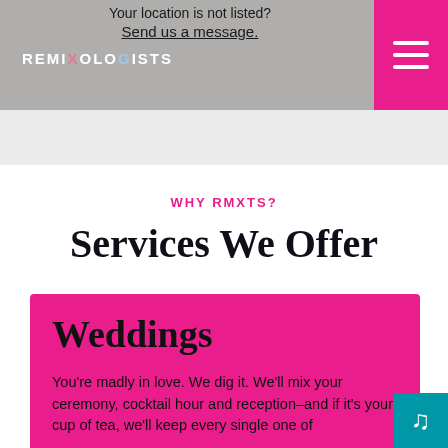REMIXOLOGISTS
Your location is not listed?
Send us a message.
WHY RMXTS?
Services We Offer
Weddings
You're madly in love. We dig it. We'll mix your ceremony, cocktail hour and reception–and if it's your cup of tea, we'll keep every single one of